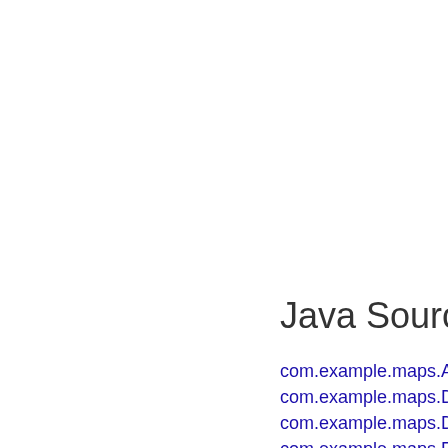Java Source C
com.example.maps.ArrayOfB
com.example.maps.Deadline
com.example.maps.Deadline
com.example.maps.EditEven
com.example.maps.EventDe
com.example.maps.ListEven
com.example.maps.MainActi
com.example.maps.MakeEve
com.example.maps.ViewTas